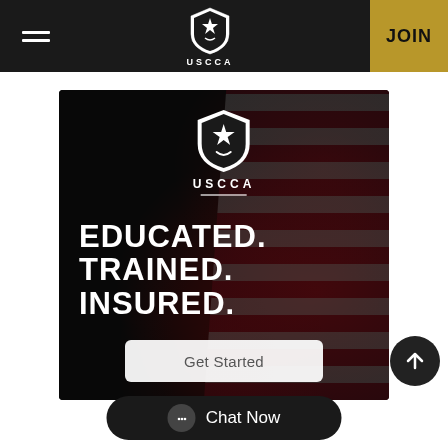USCCA — JOIN
[Figure (screenshot): USCCA website screenshot showing a dark banner with American flag background, USCCA shield logo, bold white text reading EDUCATED. TRAINED. INSURED., and a Get Started button]
EDUCATED. TRAINED. INSURED.
Get Started
Chat Now